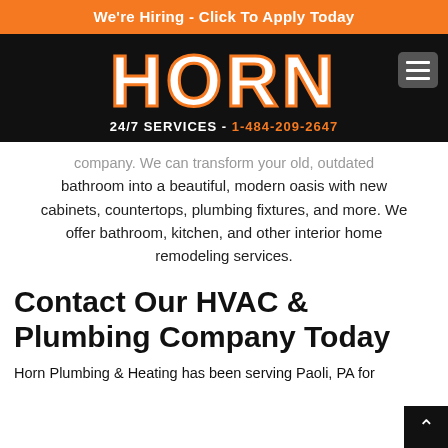We're Hiring - Click To Apply Today
[Figure (logo): HORN company logo in large white bold text with orange outline on black background, with hamburger menu button]
24/7 SERVICES - 1-484-209-2647
company. We can transform your old, outdated bathroom into a beautiful, modern oasis with new cabinets, countertops, plumbing fixtures, and more. We offer bathroom, kitchen, and other interior home remodeling services.
Contact Our HVAC & Plumbing Company Today
Horn Plumbing & Heating has been serving Paoli, PA for